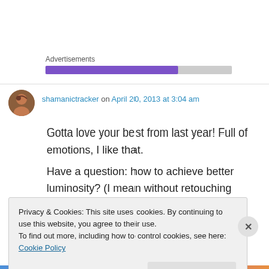Advertisements
[Figure (other): Progress bar style advertisement placeholder with purple fill and grey background]
shamanictracker on April 20, 2013 at 3:04 am
Gotta love your best from last year! Full of emotions, I like that.

Have a question: how to achieve better luminosity? (I mean without retouching
Privacy & Cookies: This site uses cookies. By continuing to use this website, you agree to their use.
To find out more, including how to control cookies, see here: Cookie Policy
Close and accept